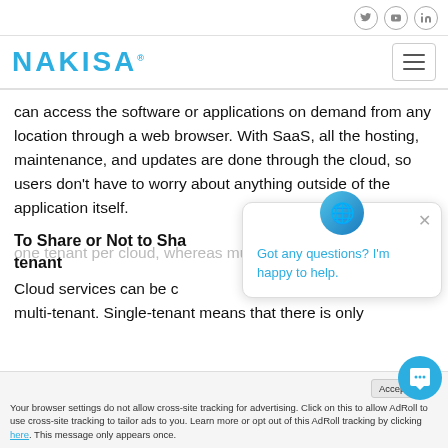NAKISA [social icons: Twitter, YouTube, LinkedIn] [hamburger menu]
can access the software or applications on demand from any location through a web browser. With SaaS, all the hosting, maintenance, and updates are done through the cloud, so users don't have to worry about anything outside of the application itself.
To Share or Not to Share: single-tenant vs. multi-tenant
Cloud services can be categorized as single-tenant or multi-tenant. Single-tenant means that there is only one tenant per cloud, whereas multi-tenant...
Got any questions? I'm happy to help.
Your browser settings do not allow cross-site tracking for advertising. Click on this to allow AdRoll to use cross-site tracking to tailor ads to you. Learn more or opt out of this AdRoll tracking by clicking here. This message only appears once.